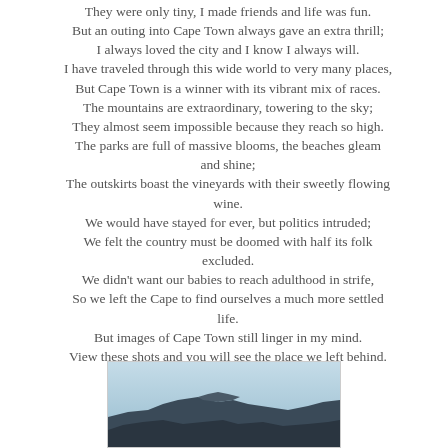They were only tiny, I made friends and life was fun.
But an outing into Cape Town always gave an extra thrill;
I always loved the city and I know I always will.
I have traveled through this wide world to very many places,
But Cape Town is a winner with its vibrant mix of races.
The mountains are extraordinary, towering to the sky;
They almost seem impossible because they reach so high.
The parks are full of massive blooms, the beaches gleam and shine;
The outskirts boast the vineyards with their sweetly flowing wine.
We would have stayed for ever, but politics intruded;
We felt the country must be doomed with half its folk excluded.
We didn't want our babies to reach adulthood in strife,
So we left the Cape to find ourselves a much more settled life.
But images of Cape Town still linger in my mind.
View these shots and you will see the place we left behind.
[Figure (photo): Partial photograph of a mountainous coastal landscape, likely Table Mountain near Cape Town, with a light blue sky and dark rocky formations.]